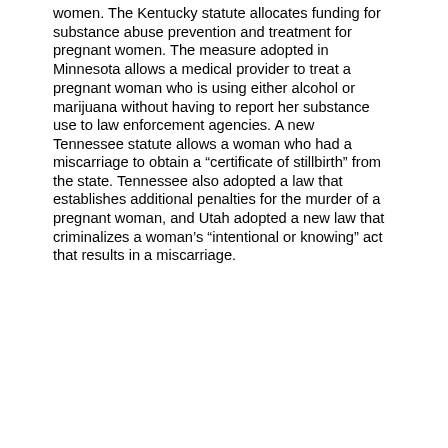women. The Kentucky statute allocates funding for substance abuse prevention and treatment for pregnant women. The measure adopted in Minnesota allows a medical provider to treat a pregnant woman who is using either alcohol or marijuana without having to report her substance use to law enforcement agencies. A new Tennessee statute allows a woman who had a miscarriage to obtain a “certificate of stillbirth” from the state. Tennessee also adopted a law that establishes additional penalties for the murder of a pregnant woman, and Utah adopted a new law that criminalizes a woman’s “intentional or knowing” act that results in a miscarriage.
Contraception and Prevention